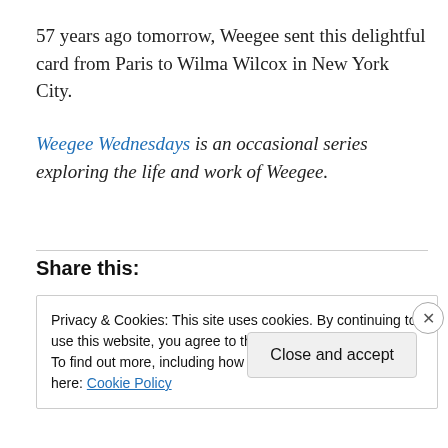57 years ago tomorrow, Weegee sent this delightful card from Paris to Wilma Wilcox in New York City.
Weegee Wednesdays is an occasional series exploring the life and work of Weegee.
Share this:
Privacy & Cookies: This site uses cookies. By continuing to use this website, you agree to their use.
To find out more, including how to control cookies, see here: Cookie Policy
Close and accept